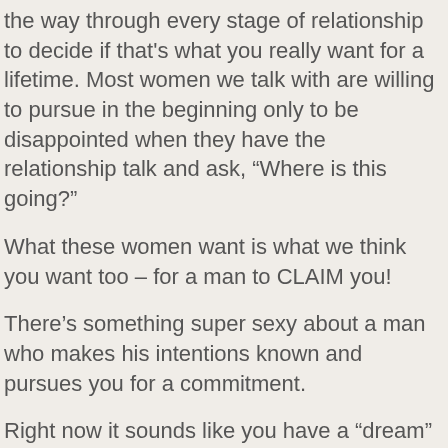the way through every stage of relationship to decide if that's what you really want for a lifetime. Most women we talk with are willing to pursue in the beginning only to be disappointed when they have the relationship talk and ask, “Where is this going?”
What these women want is what we think you want too – for a man to CLAIM you!
There’s something super sexy about a man who makes his intentions known and pursues you for a commitment.
Right now it sounds like you have a “dream” and you don’t seem to understand how to manifest that dream into a reality. This is Manifestation 101 – how to create what you want.